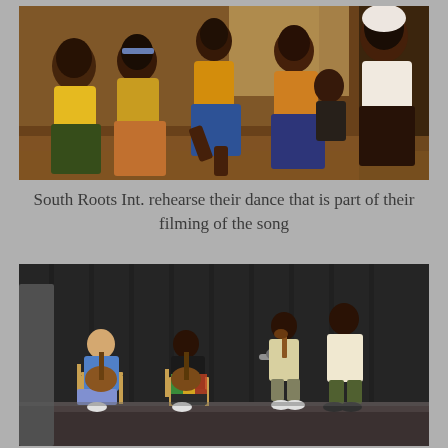[Figure (photo): Women in colorful African attire dancing together in a warmly lit room. Several women in vibrant yellow, green and patterned dresses are dancing energetically indoors.]
South Roots Int. rehearse their dance that is part of their filming of the song
[Figure (photo): Musicians and performers rehearsing on a stage with dark curtains. Two people sit on chairs playing guitar, a person stands at a microphone, and another person stands nearby on a dark stage floor.]